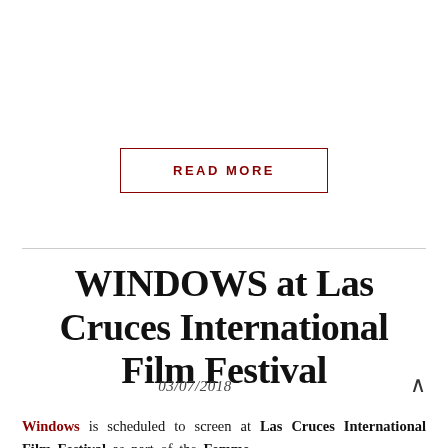READ MORE
WINDOWS at Las Cruces International Film Festival
03/07/2018
Windows is scheduled to screen at Las Cruces International Film Festival as part of the Femme